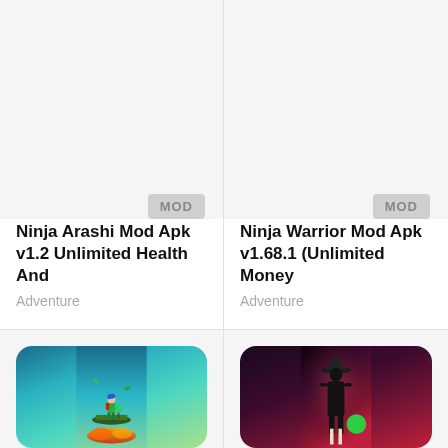[Figure (screenshot): Ninja Arashi game card top half - blank image area with MOD badge]
Ninja Arashi Mod Apk v1.2 Unlimited Health And
Adventure
[Figure (screenshot): Ninja Warrior game card top half - blank image area with MOD badge]
Ninja Warrior Mod Apk v1.68.1 (Unlimited Money
Adventure
[Figure (screenshot): Ninja Arashi game thumbnail - character with blue hair and green outfit standing on floating island, teal sky background]
[Figure (screenshot): Ninja Warrior game thumbnail - dark ninja silhouette with hat against red/purple background, green circle overlay, Roman numeral II]